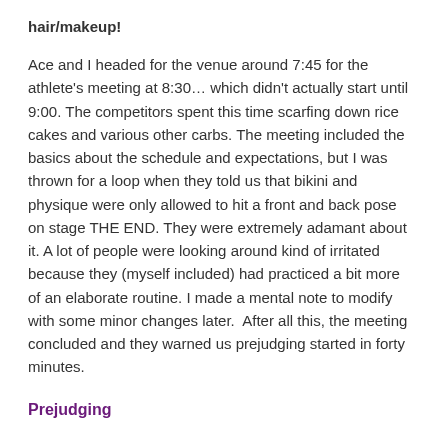hair/makeup!
Ace and I headed for the venue around 7:45 for the athlete's meeting at 8:30… which didn't actually start until 9:00. The competitors spent this time scarfing down rice cakes and various other carbs. The meeting included the basics about the schedule and expectations, but I was thrown for a loop when they told us that bikini and physique were only allowed to hit a front and back pose on stage THE END. They were extremely adamant about it. A lot of people were looking around kind of irritated because they (myself included) had practiced a bit more of an elaborate routine. I made a mental note to modify with some minor changes later.  After all this, the meeting concluded and they warned us prejudging started in forty minutes.
Prejudging